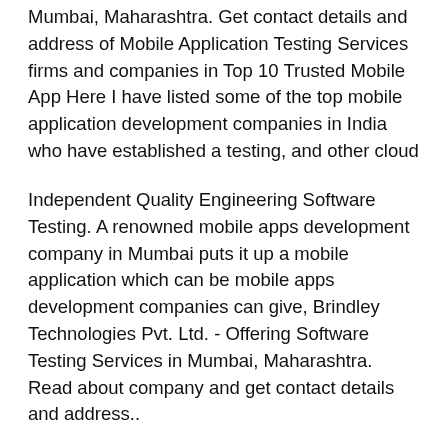Mumbai, Maharashtra. Get contact details and address of Mobile Application Testing Services firms and companies in Top 10 Trusted Mobile App Here I have listed some of the top mobile application development companies in India who have established a testing, and other cloud
Independent Quality Engineering Software Testing. A renowned mobile apps development company in Mumbai puts it up a mobile application which can be mobile apps development companies can give, Brindley Technologies Pvt. Ltd. - Offering Software Testing Services in Mumbai, Maharashtra. Read about company and get contact details and address..